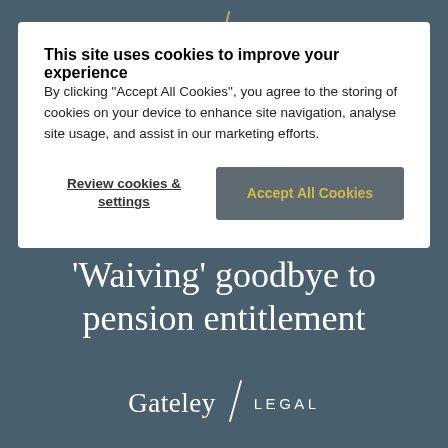[Figure (screenshot): Dark teal/grey background with a website cookie consent modal overlay. Background shows partial text 'Waiving goodbye to pension entitlement' and Gateley Legal logo at bottom.]
This site uses cookies to improve your experience
By clicking “Accept All Cookies”, you agree to the storing of cookies on your device to enhance site navigation, analyse site usage, and assist in our marketing efforts.
Review cookies & settings
Accept All Cookies
Waiving goodbye to pension entitlement
Gateley / LEGAL